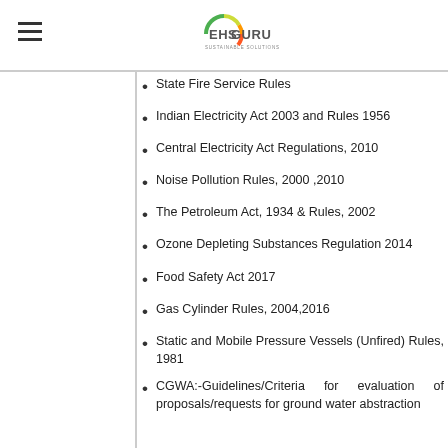EHS GURU
State Fire Service Rules
Indian Electricity Act 2003 and Rules 1956
Central Electricity Act Regulations, 2010
Noise Pollution Rules, 2000 ,2010
The Petroleum Act, 1934 & Rules, 2002
Ozone Depleting Substances Regulation 2014
Food Safety Act 2017
Gas Cylinder Rules, 2004,2016
Static and Mobile Pressure Vessels (Unfired) Rules, 1981
CGWA:-Guidelines/Criteria for evaluation of proposals/requests for ground water abstraction